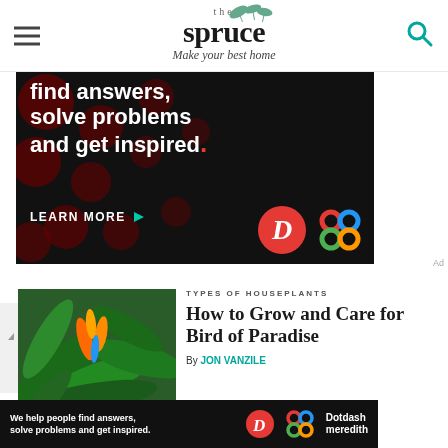the spruce — Make your best home
[Figure (screenshot): Advertisement banner with dark background and red bokeh dots. Text reads: 'find answers, solve problems and get inspired.' with a LEARN MORE button and Dotdash Meredith logos.]
[Figure (photo): Photo of Bird of Paradise plant with orange flowers and green leaves.]
TYPES OF HOUSEPLANTS
How to Grow and Care for Bird of Paradise
By JON VANZILE
[Figure (screenshot): Bottom advertisement banner: 'We help people find answers, solve problems and get inspired.' with Dotdash Meredith logo.]